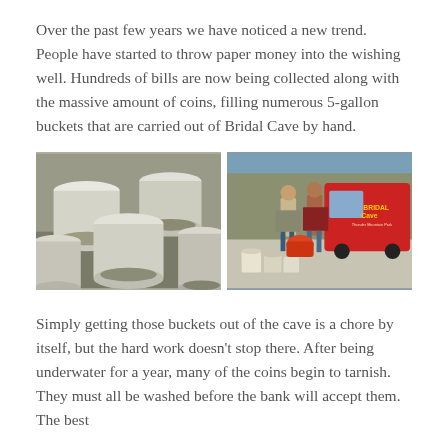Over the past few years we have noticed a new trend. People have started to throw paper money into the wishing well. Hundreds of bills are now being collected along with the massive amount of coins, filling numerous 5-gallon buckets that are carried out of Bridal Cave by hand.
[Figure (photo): Two side-by-side photos. Left: several white 5-gallon buckets filled with coins viewed from above. Right: two people standing outdoors next to a red Bridal Cave vehicle, with white buckets on the ground in front of them.]
Simply getting those buckets out of the cave is a chore by itself, but the hard work doesn't stop there. After being underwater for a year, many of the coins begin to tarnish. They must all be washed before the bank will accept them. The best...